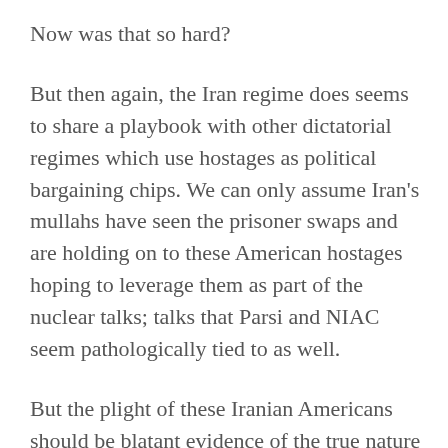Now was that so hard?
But then again, the Iran regime does seems to share a playbook with other dictatorial regimes which use hostages as political bargaining chips. We can only assume Iran's mullahs have seen the prisoner swaps and are holding on to these American hostages hoping to leverage them as part of the nuclear talks; talks that Parsi and NIAC seem pathologically tied to as well.
But the plight of these Iranian Americans should be blatant evidence of the true nature of the mission of the NIAC, which is not to help them, but help Iran gain a nuclear deal with the immediate lifting of all economic sanctions as